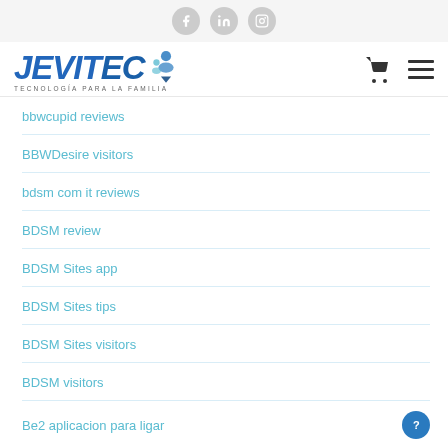Social icons: Facebook, LinkedIn, Instagram
[Figure (logo): JEVITEC logo with tagline TECNOLOGÍA PARA LA FAMILIA and people icon, plus cart and menu icons]
bbwcupid reviews
BBWDesire visitors
bdsm com it reviews
BDSM review
BDSM Sites app
BDSM Sites tips
BDSM Sites visitors
BDSM visitors
Be2 aplicacion para ligar